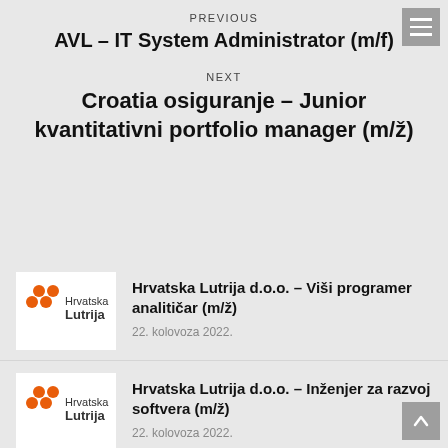PREVIOUS
AVL – IT System Administrator (m/f)
NEXT
Croatia osiguranje – Junior kvantitativni portfolio manager (m/ž)
[Figure (logo): Hrvatska Lutrija logo with orange dots]
Hrvatska Lutrija d.o.o. – Viši programer analitičar (m/ž)
22. kolovoza 2022.
[Figure (logo): Hrvatska Lutrija logo with orange dots]
Hrvatska Lutrija d.o.o. – Inženjer za razvoj softvera (m/ž)
22. kolovoza 2022.